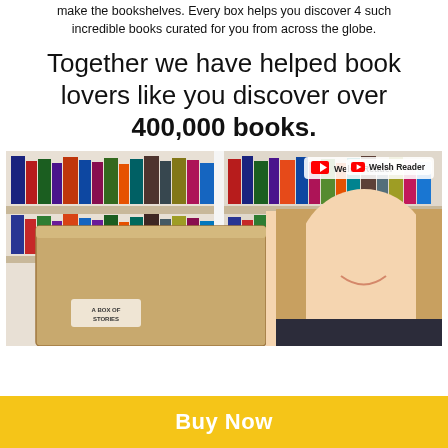make the bookshelves. Every box helps you discover 4 such incredible books curated for you from across the globe.
Together we have helped book lovers like you discover over 400,000 books.
[Figure (photo): Woman smiling and holding a cardboard box labeled 'A Box of Stories' in front of a large bookshelf filled with books. A YouTube badge reading 'Welsh Reader' is visible in the top right corner of the image.]
Buy Now